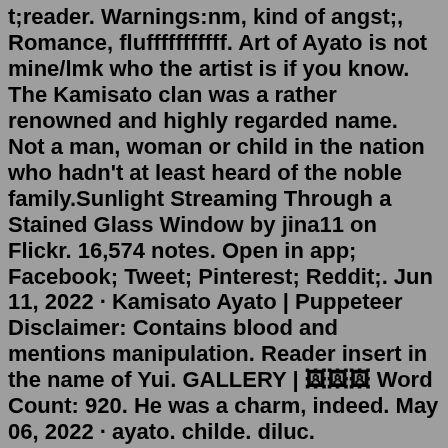t;reader. Warnings:nm, kind of angst;, Romance, flufffffffffff. Art of Ayato is not mine/lmk who the artist is if you know. The Kamisato clan was a rather renowned and highly regarded name. Not a man, woman or child in the nation who hadn't at least heard of the noble family.Sunlight Streaming Through a Stained Glass Window by jina11 on Flickr. 16,574 notes. Open in app; Facebook; Tweet; Pinterest; Reddit;. Jun 11, 2022 · Kamisato Ayato | Puppeteer Disclaimer: Contains blood and mentions manipulation. Reader insert in the name of Yui. GALLERY | 🖼 Word Count: 920. He was a charm, indeed. May 06, 2022 · ayato. childe. diluc. scaramouche. x gn!reader | part two. tags: sharing a bed (completely SFW) + various tropes. ayato *. ★ lord and employee relationship; your eyes bounce between the extravagant king-sized bed and sofa. immediately, you make a beeline for the latter and promptly sit down on it.. "/> Apr 18, 2022 · Characters: Ayato x Reader. Themes: Angst, Modern AU, Mutual Pining, No happy ending. A/N: I was